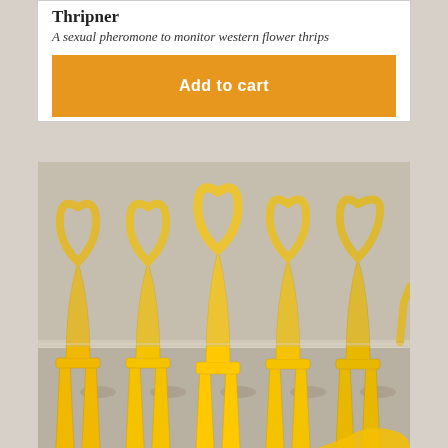Thripner
A sexual pheromone to monitor western flower thrips
Add to cart
[Figure (photo): Close-up photo of yellow plastic Thripner sticky trap inserts, shaped like stylized figures with heart-shaped tops, lined up in a row against a light grey background.]